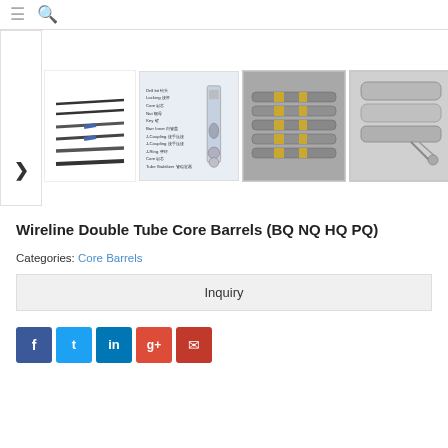☰ 🔍
[Figure (photo): Gallery of Wireline Double Tube Core Barrel product images: line drawing of core barrel components, engineering diagram with Chinese labels, photo of 5 assembled core barrels with gold bands, photo of metal rods and tube components]
Wireline Double Tube Core Barrels (BQ NQ HQ PQ)
Categories: Core Barrels
Inquiry
Social share buttons: Facebook, Twitter, LinkedIn, Google+, Email